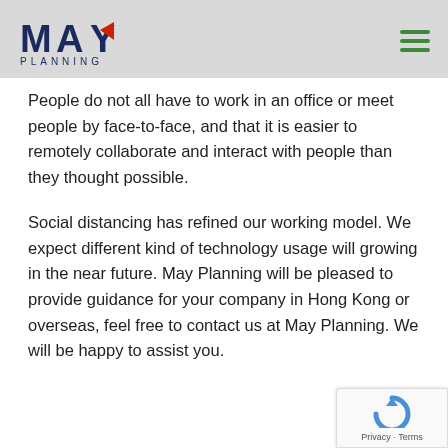[Figure (logo): May Planning logo with stylized text MAY in dark blue with a red arrow accent, and PLANNING in spaced dark blue letters below]
People do not all have to work in an office or meet people by face-to-face, and that it is easier to remotely collaborate and interact with people than they thought possible.
Social distancing has refined our working model. We expect different kind of technology usage will growing in the near future. May Planning will be pleased to provide guidance for your company in Hong Kong or overseas, feel free to contact us at May Planning. We will be happy to assist you.